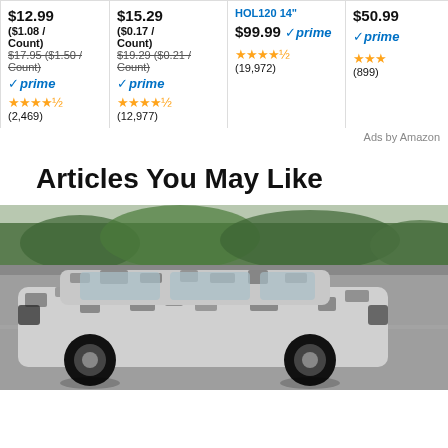[Figure (screenshot): Amazon ad cards row showing 4 products with prices, Prime badges, star ratings, and review counts. Products: $12.99 ($1.08/Count) was $17.95, 4.5 stars (2,469); $15.29 ($0.17/Count) was $19.29 ($0.21/Count), 4.5 stars (12,977); $99.99 Prime, 4.5 stars (19,972); $50.99 Prime, (899).]
Ads by Amazon
Articles You May Like
[Figure (photo): A camouflage-wrapped SUV (appears to be a prototype vehicle) driving on a test track with a blurred green tree line in the background.]